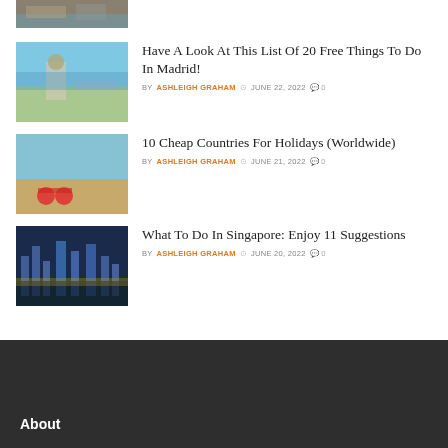[Figure (photo): Partial thumbnail of a waterway/travel scene at top of page]
Have A Look At This List Of 20 Free Things To Do In Madrid!
BY ASHLEIGH GRAHAM  JUNE 22, 2022  0
[Figure (photo): Thumbnail of a beach scene with sunglasses on sand]
10 Cheap Countries For Holidays (Worldwide)
BY ASHLEIGH GRAHAM  JUNE 21, 2022  0
[Figure (photo): Thumbnail of Singapore skyline at night]
What To Do In Singapore: Enjoy 11 Suggestions
BY ASHLEIGH GRAHAM  JUNE 20, 2022  0
About